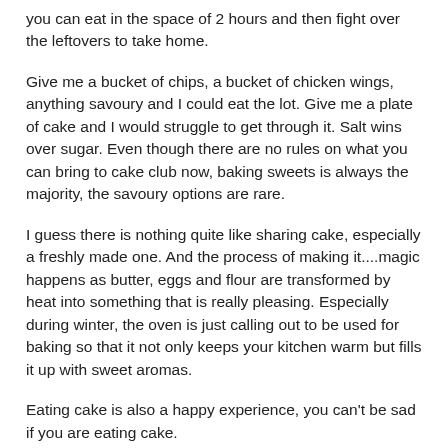you can eat in the space of 2 hours and then fight over the leftovers to take home.
Give me a bucket of chips, a bucket of chicken wings, anything savoury and I could eat the lot. Give me a plate of cake and I would struggle to get through it. Salt wins over sugar. Even though there are no rules on what you can bring to cake club now, baking sweets is always the majority, the savoury options are rare.
I guess there is nothing quite like sharing cake, especially a freshly made one. And the process of making it....magic happens as butter, eggs and flour are transformed by heat into something that is really pleasing. Especially during winter, the oven is just calling out to be used for baking so that it not only keeps your kitchen warm but fills it up with sweet aromas.
Eating cake is also a happy experience, you can't be sad if you are eating cake.
The theme for the July Secret Cake Club Perth was  'Cup 'O